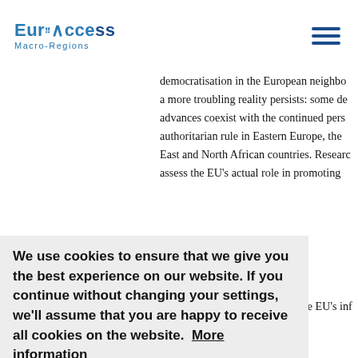EuroAccess Macro-Regions
democratisation in the European neighbourhood, a more troubling reality persists: some democratic advances coexist with the continued persistence of authoritarian rule in Eastern Europe, the Middle East and North African countries. Research should assess the EU's actual role in promoting democracy. It should examine the EU's influence in the neighbourhood countries and address potential gaps between EU intentions and the effectiveness of democracy support policies. Critical reflection should facilitate understanding of the dynamics, including opposition to the EU's democratic efforts in the neighbourhood. Such an overarching assessment should contribute to innovations in democratisation policies corresponding to
We use cookies to ensure that we give you the best experience on our website. If you continue without changing your settings, we'll assume that you are happy to receive all cookies on the website.  More information
Agree